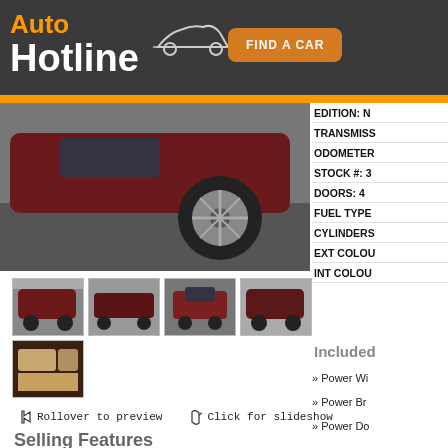Auto Hotline — FIND A CAR
[Figure (photo): Main photo of a dark red/maroon Lexus RX SUV showing front wheel and lower body]
[Figure (photo): Thumbnail 1: Front 3/4 view of dark red Lexus RX SUV in parking lot]
[Figure (photo): Thumbnail 2: Side profile view of dark red Lexus RX SUV]
[Figure (photo): Thumbnail 3: Rear view of dark red Lexus RX SUV]
[Figure (photo): Thumbnail 4: Front 3/4 view of dark red Lexus RX SUV outdoors]
[Figure (photo): Thumbnail 5: Interior view showing dashboard and beige leather seats]
Rollover to preview   Click for slideshow
Selling Features
EDITION: N
TRANSMISSION:
ODOMETER:
STOCK #: 3
DOORS: 4
FUEL TYPE:
CYLINDERS:
EXT COLOUR:
INT COLOUR:
Included
» Power Windows
» Power Brakes
» Power Door